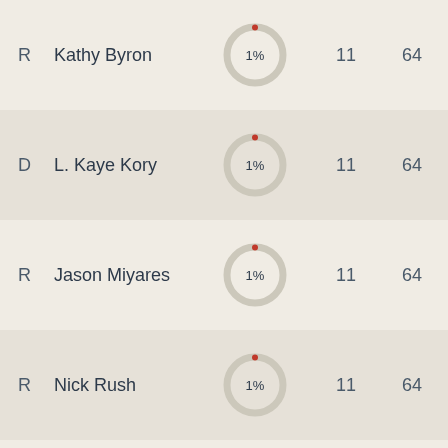[Figure (donut-chart): Kathy Byron]
R  Kathy Byron  1%  11  64
[Figure (donut-chart): L. Kaye Kory]
D  L. Kaye Kory  1%  11  64
[Figure (donut-chart): Jason Miyares]
R  Jason Miyares  1%  11  64
[Figure (donut-chart): Nick Rush]
R  Nick Rush  1%  11  64